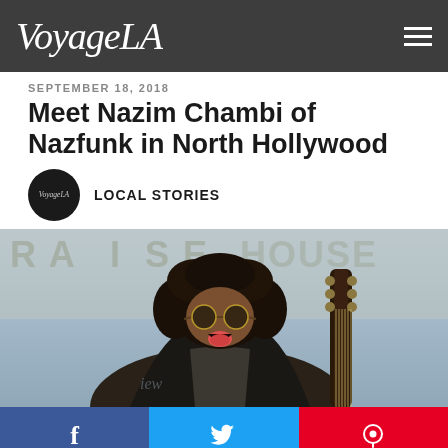VoyageLA
SEPTEMBER 18, 2018
Meet Nazim Chambi of Nazfunk in North Hollywood
LOCAL STORIES
[Figure (photo): Person with curly afro hair and round sunglasses, sticking tongue out and holding a guitar, in front of a sign reading RAISE HOUSE]
Social share buttons: Facebook, Twitter, Pinterest